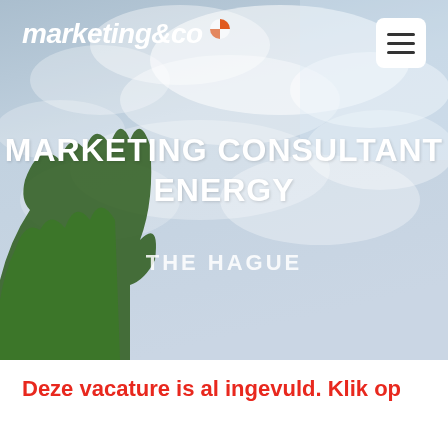[Figure (screenshot): Hero background image of a cloudy sky with a tree silhouette in the bottom left corner]
marketing&co
MARKETING CONSULTANT ENERGY
THE HAGUE
Deze vacature is al ingevuld. Klik op